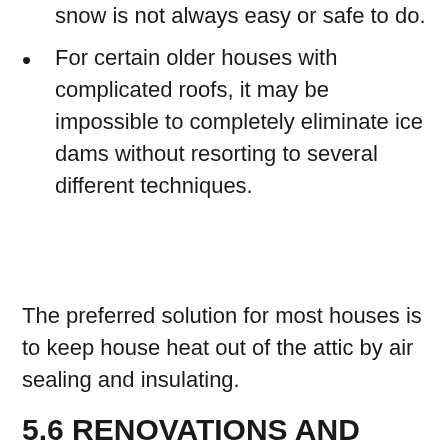snow is not always easy or safe to do.
For certain older houses with complicated roofs, it may be impossible to completely eliminate ice dams without resorting to several different techniques.
The preferred solution for most houses is to keep house heat out of the attic by air sealing and insulating.
5.6 RENOVATIONS AND